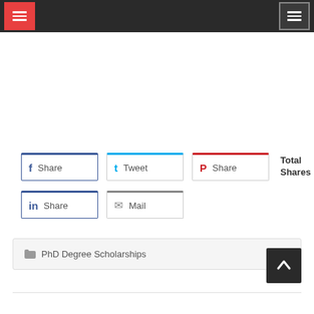Navigation header with menu buttons
[Figure (screenshot): Social sharing buttons: Facebook Share, Tweet, Pinterest Share (top row); LinkedIn Share, Mail (bottom row); with Total Shares label]
Total Shares
📁 PhD Degree Scholarships
[Figure (other): Back to top button with upward arrow]